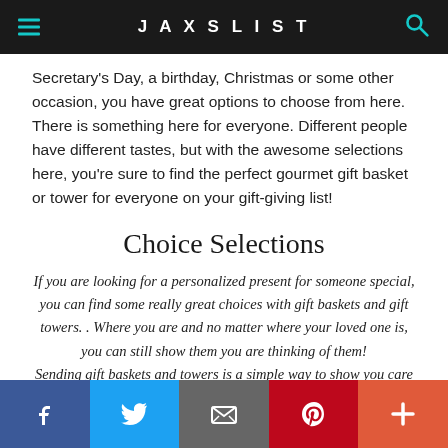JAXSLIST
Secretary's Day, a birthday, Christmas or some other occasion, you have great options to choose from here. There is something here for everyone. Different people have different tastes, but with the awesome selections here, you're sure to find the perfect gourmet gift basket or tower for everyone on your gift-giving list!
Choice Selections
If you are looking for a personalized present for someone special, you can find some really great choices with gift baskets and gift towers. . Where you are and no matter where your loved one is, you can still show them you are thinking of them! Sending gift baskets and towers is a simple way to show you care when you can't be there in person.
Social share buttons: Facebook, Twitter, Email, Pinterest, More